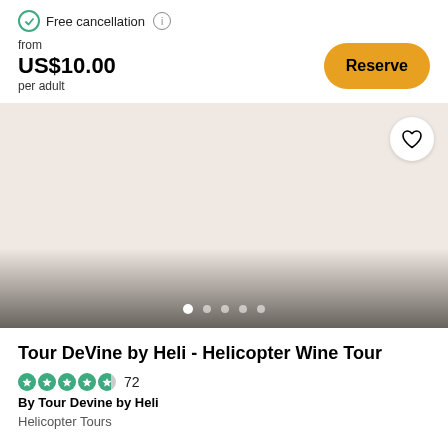Free cancellation
from
US$10.00
per adult
Reserve
[Figure (photo): Large image placeholder area with pinkish-beige background, heart/favorite icon in top right, and image carousel dots at bottom]
Tour DeVine by Heli - Helicopter Wine Tour
72
By Tour Devine by Heli
Helicopter Tours